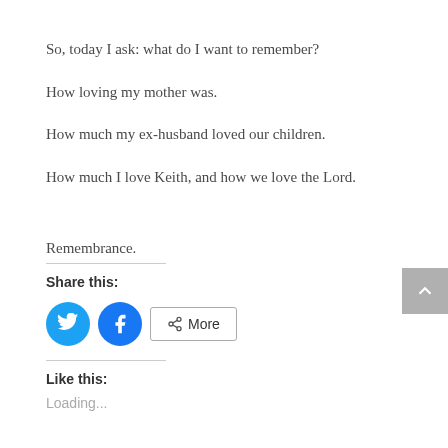So, today I ask: what do I want to remember?
How loving my mother was.
How much my ex-husband loved our children.
How much I love Keith, and how we love the Lord.
Remembrance.
Share this:
[Figure (other): Twitter share button (blue circle with bird icon), Facebook share button (blue circle with f icon), More button with share icon]
Like this:
Loading...